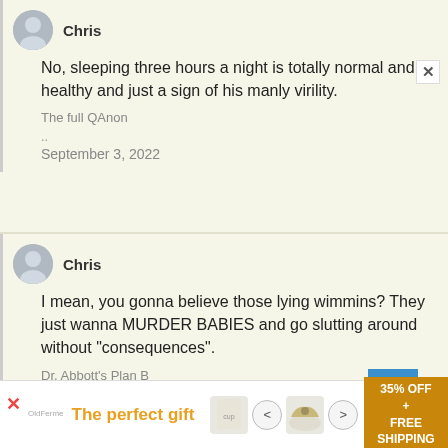[Figure (other): User avatar circle for Chris (top comment)]
Chris
No, sleeping three hours a night is totally normal and healthy and just a sign of his manly virility.
The full QAnon
..
September 3, 2022
[Figure (other): User avatar circle for Chris (second comment)]
Chris
I mean, you gonna believe those lying wimmins? They just wanna MURDER BABIES and go slutting around without "consequences".
Dr. Abbott's Plan B
[Figure (other): Advertisement banner: The perfect gift, 35% OFF + FREE SHIPPING]